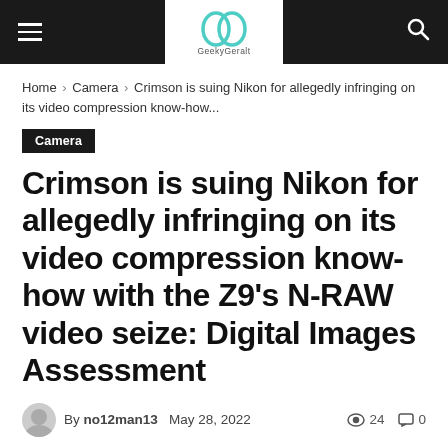GeekyGeralt navigation bar with hamburger menu, logo, and search icon
Home › Camera › Crimson is suing Nikon for allegedly infringing on its video compression know-how...
Camera
Crimson is suing Nikon for allegedly infringing on its video compression know-how with the Z9's N-RAW video seize: Digital Images Assessment
By no12man13  May 28, 2022  👁 24  💬 0